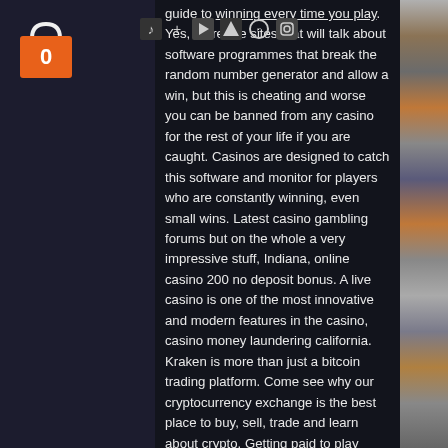[Figure (illustration): Shopping bag icon with the number 0 on it, displayed in the left sidebar]
[Figure (illustration): Row of social media icons (music, arrow, play button, shapes, clock/circle, Instagram) displayed at the top of the main text column]
guide to winning every time you play. Yes, there are sites that will talk about software programmes that break the random number generator and allow a win, but this is cheating and worse you can be banned from any casino for the rest of your life if you are caught. Casinos are designed to catch this software and monitor for players who are constantly winning, even small wins. Latest casino gambling forums but on the whole a very impressive stuff, Indiana, online casino 200 no deposit bonus. A live casino is one of the most innovative and modern features in the casino, casino money laundering california. Kraken is more than just a bitcoin trading platform. Come see why our cryptocurrency exchange is the best place to buy, sell, trade and learn about crypto. Getting paid to play games sounds like a dream - but it's a reality with play to earn (p2e) crypto games. By playing defi games
[Figure (photo): Right side panel showing stacked colorful fabric or clothing items in shades of brown, orange, blue, grey, and white]